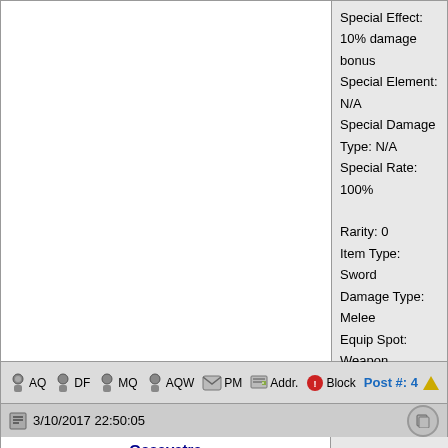Special Effect: 10% damage bonus
Special Element: N/A
Special Damage Type: N/A
Special Rate: 100%
Rarity: 0
Item Type: Sword
Damage Type: Melee
Equip Spot: Weapon
Category: Weapon
AQ DF MQ AQW PM Addr. Block  Post #: 4
3/10/2017 22:50:05
Occavatra
Member
Vile Infused Rose Sword V
Rose-approved... or is it? This common Rose sword seems be enchanted by an unusual magic. The ire of the shackled for its captor dwells within and will lash out when the weapon strikes. Who could have made this... and why?
(No DA Required)
Location: Vile Infused Rose
Price: N/A
Required Items: 2 Glob of Atgasedd & 1 Vile Infused Rose Sword IV
Sellback: 13 Dragon Coins
Level: 50